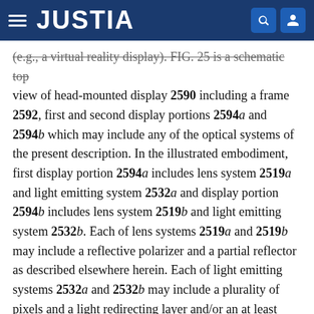JUSTIA
(e.g., a virtual reality display). FIG. 25 is a schematic top view of head-mounted display 2590 including a frame 2592, first and second display portions 2594a and 2594b which may include any of the optical systems of the present description. In the illustrated embodiment, first display portion 2594a includes lens system 2519a and light emitting system 2532a and display portion 2594b includes lens system 2519b and light emitting system 2532b. Each of lens systems 2519a and 2519b may include a reflective polarizer and a partial reflector as described elsewhere herein. Each of light emitting systems 2532a and 2532b may include a plurality of pixels and a light redirecting layer and/or an at least partially collimating backlight as described elsewhere herein. In some embodiments, lens systems 2519a and 2519b are centered on an optical axis (e.g., an axis parallel to the z-axis in FIG. 25) and light emitting